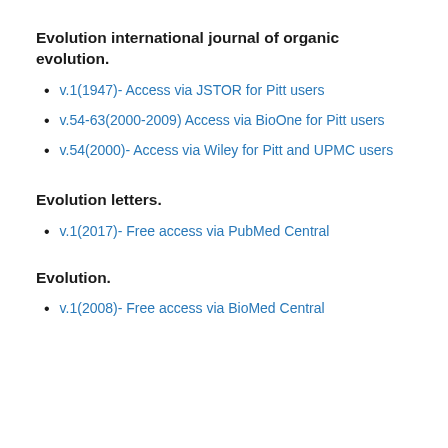Evolution international journal of organic evolution.
v.1(1947)- Access via JSTOR for Pitt users
v.54-63(2000-2009) Access via BioOne for Pitt users
v.54(2000)- Access via Wiley for Pitt and UPMC users
Evolution letters.
v.1(2017)- Free access via PubMed Central
Evolution.
v.1(2008)- Free access via BioMed Central